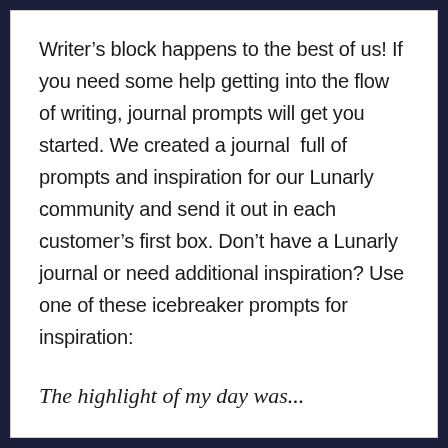Writer’s block happens to the best of us! If you need some help getting into the flow of writing, journal prompts will get you started. We created a journal  full of prompts and inspiration for our Lunarly community and send it out in each customer’s first box. Don’t have a Lunarly journal or need additional inspiration? Use one of these icebreaker prompts for inspiration:
The highlight of my day was...